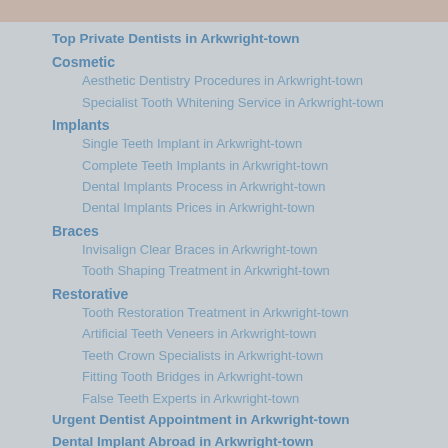Top Private Dentists in Arkwright-town
Cosmetic
Aesthetic Dentistry Procedures in Arkwright-town
Specialist Tooth Whitening Service in Arkwright-town
Implants
Single Teeth Implant in Arkwright-town
Complete Teeth Implants in Arkwright-town
Dental Implants Process in Arkwright-town
Dental Implants Prices in Arkwright-town
Braces
Invisalign Clear Braces in Arkwright-town
Tooth Shaping Treatment in Arkwright-town
Restorative
Tooth Restoration Treatment in Arkwright-town
Artificial Teeth Veneers in Arkwright-town
Teeth Crown Specialists in Arkwright-town
Fitting Tooth Bridges in Arkwright-town
False Teeth Experts in Arkwright-town
Urgent Dentist Appointment in Arkwright-town
Dental Implant Abroad in Arkwright-town